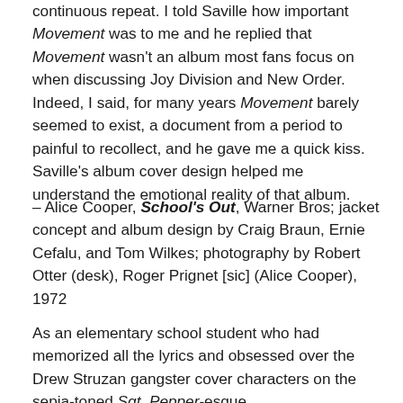continuous repeat. I told Saville how important Movement was to me and he replied that Movement wasn't an album most fans focus on when discussing Joy Division and New Order. Indeed, I said, for many years Movement barely seemed to exist, a document from a period to painful to recollect, and he gave me a quick kiss. Saville's album cover design helped me understand the emotional reality of that album.
– Alice Cooper, School's Out, Warner Bros; jacket concept and album design by Craig Braun, Ernie Cefalu, and Tom Wilkes; photography by Robert Otter (desk), Roger Prignet [sic] (Alice Cooper), 1972
As an elementary school student who had memorized all the lyrics and obsessed over the Drew Struzan gangster cover characters on the sepia-toned Sgt. Pepper-esque Alice Cooper covers, I knew this was the band that had